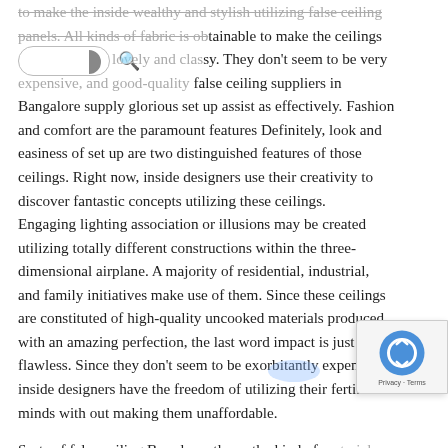to make the inside wealthy and stylish utilizing false ceiling panels. All kinds of fabric is obtainable to make the ceilings extraordinarily lovely and classy. They don't seem to be very expensive, and good-quality false ceiling suppliers in Bangalore supply glorious set up assist as effectively. Fashion and comfort are the paramount features Definitely, look and easiness of set up are two distinguished features of those ceilings. Right now, inside designers use their creativity to discover fantastic concepts utilizing these ceilings. Engaging lighting association or illusions may be created utilizing totally different constructions within the three-dimensional airplane. A majority of residential, industrial, and family initiatives make use of them. Since these ceilings are constituted of high-quality uncooked materials produced with an amazing perfection, the last word impact is just flawless. Since they don't seem to be exorbitantly expensive, inside designers have the freedom of utilizing their fertile minds with out making them unaffordable.

Sorts of false ceiling Based mostly on the kind of materials used for creating the seen layer, they are often labele the following classes: Picket ceilings: They have be well-liked within the earlier days. Right now a couple of